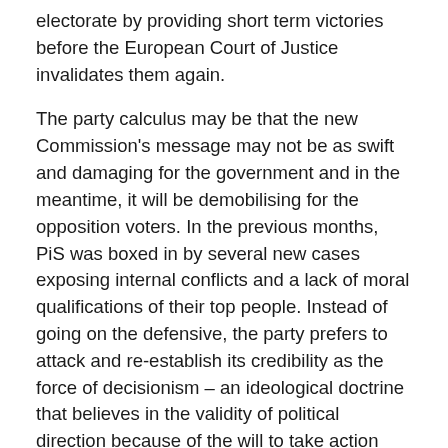electorate by providing short term victories before the European Court of Justice invalidates them again.
The party calculus may be that the new Commission's message may not be as swift and damaging for the government and in the meantime, it will be demobilising for the opposition voters. In the previous months, PiS was boxed in by several new cases exposing internal conflicts and a lack of moral qualifications of their top people. Instead of going on the defensive, the party prefers to attack and re-establish its credibility as the force of decisionism – an ideological doctrine that believes in the validity of political direction because of the will to take action rather than the (disputed) contents of the action.
However, this strategy risks giving some initiative to the Senate where new laws can be rejected because of the thin majority that the opposition now holds. In turn, the lower chamber of parliament can overrule these.
In the meantime, new Senate speaker Tomasz Grodzki will